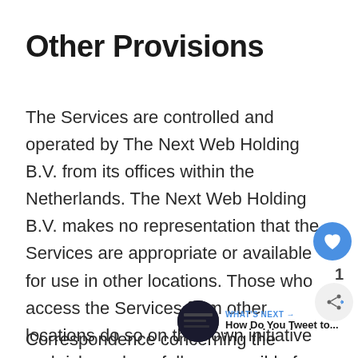Other Provisions
The Services are controlled and operated by The Next Web Holding B.V. from its offices within the Netherlands. The Next Web Holding B.V. makes no representation that the Services are appropriate or available for use in other locations. Those who access the Services from other locations do so on their own initiative and risk, and are fully responsible for compliance with all applicable laws in those locations.
Correspondence concerning the Services or